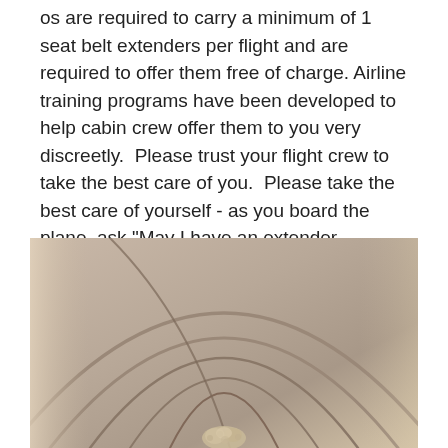os are required to carry a minimum of 1 seat belt extenders per flight and are required to offer them free of charge. Airline training programs have been developed to help cabin crew offer them to you very discreetly.  Please trust your flight crew to take the best care of you.  Please take the best care of yourself - as you board the plane, ask "May I have an extender, please?"
[Figure (photo): Close-up photo of an airplane seat back showing curved stitched upholstery in a tan/beige color, with a small decorative item at the bottom center.]